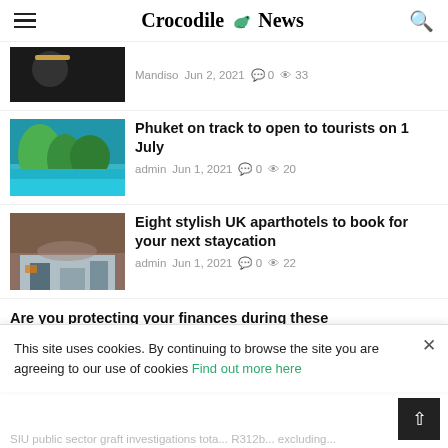Crocodile News
Mandiso  Jun 2, 2021  💬 0  👁 33
Phuket on track to open to tourists on 1 July
admin  Jun 1, 2021  💬 0  👁 20
Eight stylish UK aparthotels to book for your next staycation
admin  Jun 1, 2021  💬 0  👁 22
Are you protecting your finances during these uncertain...
This site uses cookies. By continuing to browse the site you are agreeing to our use of cookies Find out more here